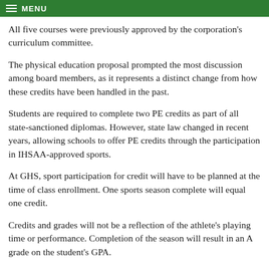MENU
All five courses were previously approved by the corporation's curriculum committee.
The physical education proposal prompted the most discussion among board members, as it represents a distinct change from how these credits have been handled in the past.
Students are required to complete two PE credits as part of all state-sanctioned diplomas. However, state law changed in recent years, allowing schools to offer PE credits through the participation in IHSAA-approved sports.
At GHS, sport participation for credit will have to be planned at the time of class enrollment. One sports season complete will equal one credit.
Credits and grades will not be a reflection of the athlete's playing time or performance. Completion of the season will result in an A grade on the student's GPA.